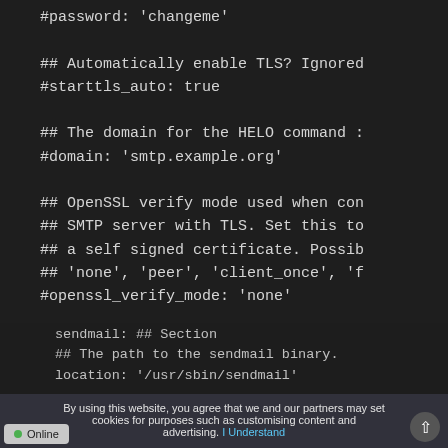#password: 'changeme'

## Automatically enable TLS? Ignored
#starttls_auto: true

## The domain for the HELO command :
#domain: 'smtp.example.org'

## OpenSSL verify mode used when con
## SMTP server with TLS. Set this to
## a self signed certificate. Possib
## 'none', 'peer', 'client_once', 'f
#openssl_verify_mode: 'none'

## Ignore if method isn't 'sendmail'
sendmail: ## Section
## The path to the sendmail binary.
location: '/usr/sbin/sendmail'
By using this website, you agree that we and our partners may set cookies for purposes such as customising content and advertising. I Understand